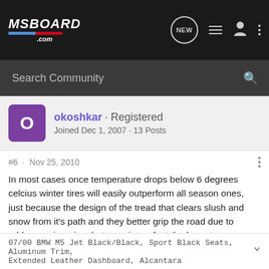[Figure (screenshot): M5Board.com website top navigation bar with logo and icons]
Search Community
okoshkar · Registered
Joined Dec 1, 2007 · 13 Posts
#6 · Nov 25, 2010
In most cases once temperature drops below 6 degrees celcius winter tires will easily outperform all season ones, just because the design of the tread that clears slush and snow from it's path and they better grip the road due to rubber engineering that remains soft at the lowest temperatures. But many drivers are happy with all-seasons for the most part.
07/00 BMW M5 Jet Black/Black, Sport Black Seats, Aluminum Trim, Extended Leather Dashboard, Alcantara